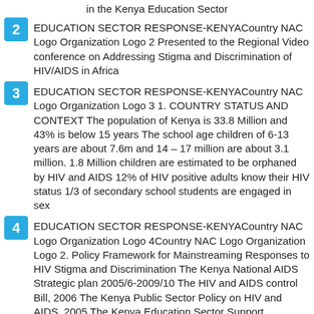in the Kenya Education Sector
2   EDUCATION SECTOR RESPONSE-KENYACountry NAC Logo Organization Logo 2 Presented to the Regional Video conference on Addressing Stigma and Discrimination of HIV/AIDS in Africa
3   EDUCATION SECTOR RESPONSE-KENYACountry NAC Logo Organization Logo 3 1. COUNTRY STATUS AND CONTEXT The population of Kenya is 33.8 Million and 43% is below 15 years The school age children of 6-13 years are about 7.6m and 14 – 17 million are about 3.1 million. 1.8 Million children are estimated to be orphaned by HIV and AIDS 12% of HIV positive adults know their HIV status 1/3 of secondary school students are engaged in sex
4   EDUCATION SECTOR RESPONSE-KENYACountry NAC Logo Organization Logo 4Country NAC Logo Organization Logo 2. Policy Framework for Mainstreaming Responses to HIV Stigma and Discrimination The Kenya National AIDS Strategic plan 2005/6-2009/10 The HIV and AIDS control Bill, 2006 The Kenya Public Sector Policy on HIV and AIDS, 2005 The Kenya Education Sector Support Programme (KESSP) 2005-2010 The Education Sector Policy on HIV and